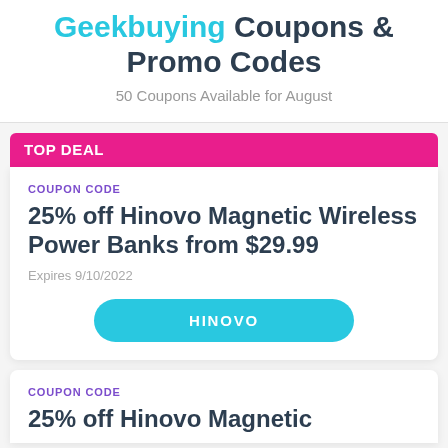Geekbuying Coupons & Promo Codes
50 Coupons Available for August
TOP DEAL
COUPON CODE
25% off Hinovo Magnetic Wireless Power Banks from $29.99
Expires 9/10/2022
HINOVO
COUPON CODE
25% off Hinovo Magnetic